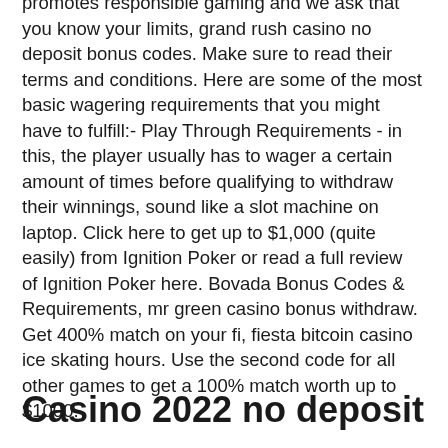promotes responsible gaming and we ask that you know your limits, grand rush casino no deposit bonus codes. Make sure to read their terms and conditions. Here are some of the most basic wagering requirements that you might have to fulfill:- Play Through Requirements - in this, the player usually has to wager a certain amount of times before qualifying to withdraw their winnings, sound like a slot machine on laptop. Click here to get up to $1,000 (quite easily) from Ignition Poker or read a full review of Ignition Poker here. Bovada Bonus Codes & Requirements, mr green casino bonus withdraw. Get 400% match on your fi, fiesta bitcoin casino ice skating hours. Use the second code for all other games to get a 100% match worth up to $1000.
Casino 2022 no deposit